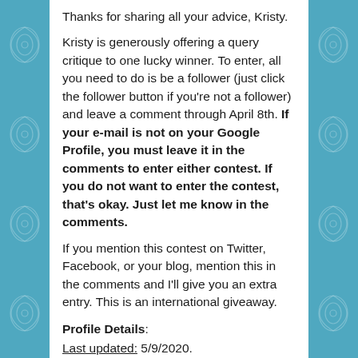Thanks for sharing all your advice, Kristy.
Kristy is generously offering a query critique to one lucky winner. To enter, all you need to do is be a follower (just click the follower button if you're not a follower) and leave a comment through April 8th. If your e-mail is not on your Google Profile, you must leave it in the comments to enter either contest. If you do not want to enter the contest, that's okay. Just let me know in the comments.
If you mention this contest on Twitter, Facebook, or your blog, mention this in the comments and I'll give you an extra entry. This is an international giveaway.
Profile Details:
Last updated: 5/9/2020.
Agent Contacted For Review? Yes.
Last Reviewed By Agent? 7/6/2020